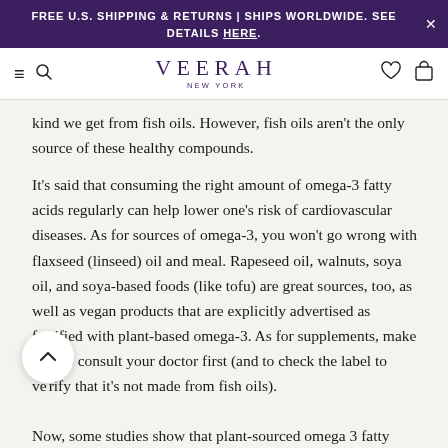FREE U.S. SHIPPING & RETURNS | SHIPS WORLDWIDE. SEE DETAILS HERE.
VEERAH NEW YORK
kind we get from fish oils. However, fish oils aren't the only source of these healthy compounds.
It's said that consuming the right amount of omega-3 fatty acids regularly can help lower one's risk of cardiovascular diseases. As for sources of omega-3, you won't go wrong with flaxseed (linseed) oil and meal. Rapeseed oil, walnuts, soya oil, and soya-based foods (like tofu) are great sources, too, as well as vegan products that are explicitly advertised as fortified with plant-based omega-3. As for supplements, make sure to consult your doctor first (and to check the label to verify that it's not made from fish oils).
Now, some studies show that plant-sourced omega 3 fatty